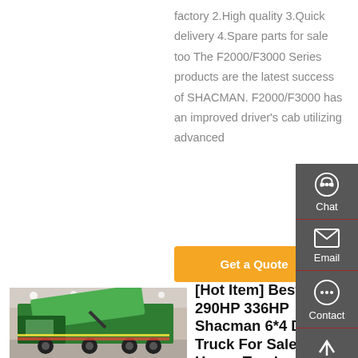factory 2.High quality 3.Quick delivery 4.Spare parts for sale too The F2000/F3000 Series products are the latest success of SHACMAN. F2000/F3000 has an improved driver's cab utilizing advanced
Get a Quote
[Figure (photo): Green Shacman dump truck on display at a trade show/exhibition]
[Hot Item] Best Price 290HP 336HP Shacman 6*4 Dump Truck For Sale - China Heavy Truck Manufacturer, Truck